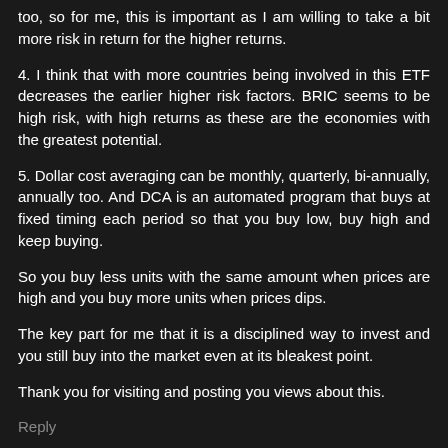too, so for me, this is important as I am willing to take a bit more risk in return for the higher returns.
4. I think that with more countries being involved in this ETF decreases the earlier higher risk factors. BRIC seems to be high risk, with high returns as these are the economies with the greatest potential.
5. Dollar cost averaging can be monthly, quarterly, bi-annually, annually too. And DCA is an automated program that buys at fixed timing each period so that you buy low, buy high and keep buying.
So you buy less units with the same amount when prices are high and you buy more units when prices dips.
The key part for me that it is a disciplined way to invest and you still buy into the market even at its bleakest point.
Thank you for visiting and posting you views about this.
Reply